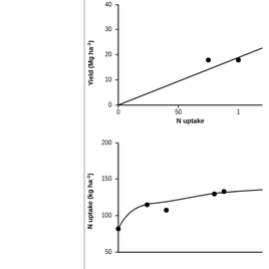[Figure (continuous-plot): Scatter plot with fitted linear trend line. Y-axis: Yield (Mg ha-1), range 0-40. X-axis: N uptake (partial, visible 0-100+). Two data points visible near x=75 and x=100. Linear trend line from origin upward.]
[Figure (continuous-plot): Scatter plot with fitted logarithmic/asymptotic curve. Y-axis: N uptake (kg ha-1), range 50-200. X-axis: partially visible. Data points at approximately x=0 (y~82), x=30 (y~115), x=50 (y~108), x=100 (y~130), x=110 (y~133). Curve rises steeply then flattens.]